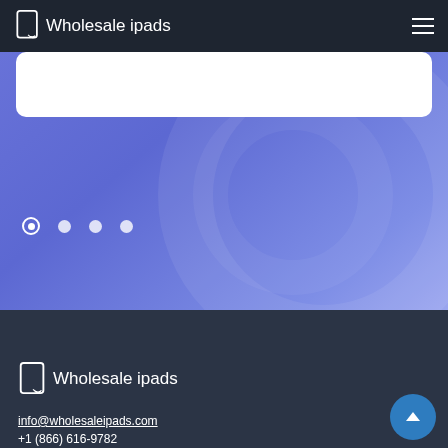Wholesale ipads
[Figure (screenshot): Website screenshot showing a navigation bar with 'Wholesale ipads' logo and hamburger menu icon on a dark background, a purple/blue gradient hero section with a white card and carousel dots, and a dark footer section with the Wholesale ipads logo, email info@wholesaleipads.com, phone +1 (866) 616-9782, and a scroll-to-top button.]
info@wholesaleipads.com
+1 (866) 616-9782